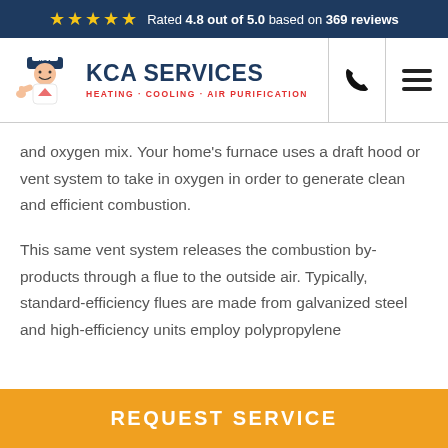Rated 4.8 out of 5.0 based on 369 reviews
[Figure (logo): KCA Services logo — cartoon HVAC technician with KCA cap giving thumbs up, beside text 'KCA SERVICES' and tagline 'HEATING · COOLING · AIR PURIFICATION']
and oxygen mix. Your home's furnace uses a draft hood or vent system to take in oxygen in order to generate clean and efficient combustion.
This same vent system releases the combustion by-products through a flue to the outside air. Typically, standard-efficiency flues are made from galvanized steel and high-efficiency units employ polypropylene
REQUEST SERVICE